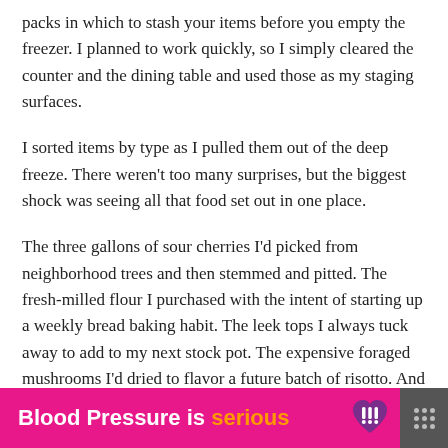packs in which to stash your items before you empty the freezer. I planned to work quickly, so I simply cleared the counter and the dining table and used those as my staging surfaces.
I sorted items by type as I pulled them out of the deep freeze. There weren't too many surprises, but the biggest shock was seeing all that food set out in one place.
The three gallons of sour cherries I'd picked from neighborhood trees and then stemmed and pitted. The fresh-milled flour I purchased with the intent of starting up a weekly bread baking habit. The leek tops I always tuck away to add to my next stock pot. The expensive foraged mushrooms I'd dried to flavor a future batch of risotto. And so, so many tomatoes—frozen whole, roasted
[Figure (infographic): Pink advertisement banner reading 'Blood Pressure is serious' with an orange/yellow heart icon with exclamation marks, and a dark menu icon on the right]